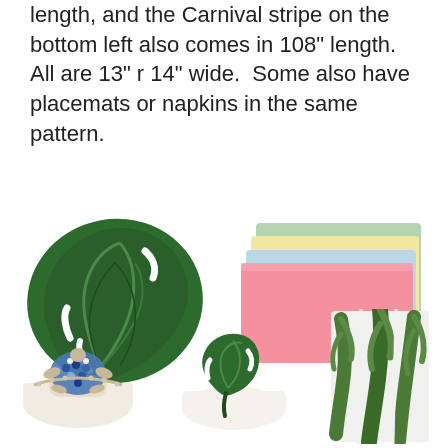length, and the Carnival stripe on the bottom left also comes in 108" length.  All are 13" r 14" wide.  Some also have placemats or napkins in the same pattern.
[Figure (photo): Large green monstera leaf placemat on white background]
[Figure (photo): Stack of pastel colored placemats in pink, light blue, yellow, and green]
[Figure (photo): Beaded turtle napkin ring with blue and white beads]
[Figure (photo): Small monstera leaf napkin ring on white napkin]
[Figure (photo): Tropical palm leaf patterned table runner in green and white]